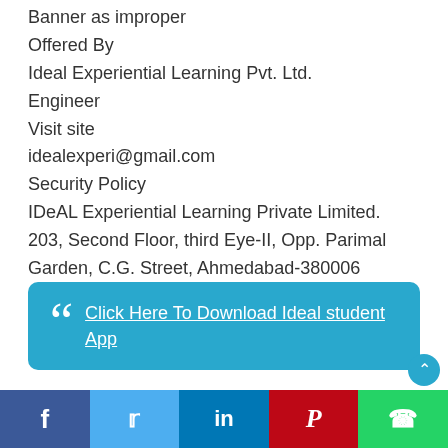Banner as improper
Offered By
Ideal Experiential Learning Pvt. Ltd.
Engineer
Visit site
idealexperi@gmail.com
Security Policy
IDeAL Experiential Learning Private Limited. 203, Second Floor, third Eye-II, Opp. Parimal Garden, C.G. Street, Ahmedabad-380006 Gujarat,India. (O) +91-79-40194188
[Figure (other): Quote box with blue background containing link text: Click Here To Download Ideal student App]
[Figure (other): Social media bar with Facebook, Twitter, LinkedIn, Pinterest, WhatsApp buttons]